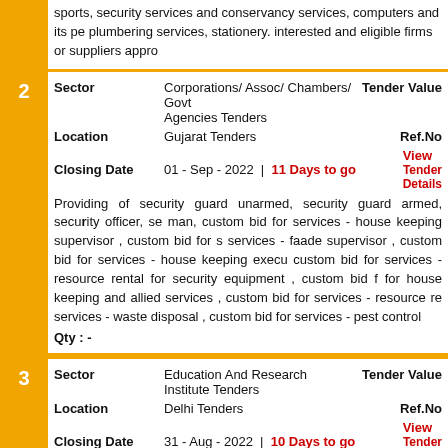sports, security services and conservancy services, computers and its pe plumbering services, stationery. interested and eligible firms or suppliers appro
Sector: Corporations/ Assoc/ Chambers/ Govt Agencies Tenders | Tender Value
Location: Gujarat Tenders | Ref.No
Closing Date: 01 - Sep - 2022 | 11 Days to go | View Tender Details
Providing of security guard unarmed, security guard armed, security officer, se man, custom bid for services - house keeping supervisor , custom bid for s services - faade supervisor , custom bid for services - house keeping execu custom bid for services - resource rental for security equipment , custom bid f for house keeping and allied services , custom bid for services - resource re services - waste disposal , custom bid for services - pest control
Qty : -
Sector: Education And Research Institute Tenders | Tender Value
Location: Delhi Tenders | Ref.No
Closing Date: 31 - Aug - 2022 | 10 Days to go | View Tender Details
Supply of structure 2400 sq mtr , stall size 3m x 3m , stall size 2m x 2m , page dais , podium , pa system , executive sofa sets , chairs , queue manager , lam fighting equipment , dustbins , list of participants , indicator , sweepers , supe hoardings , vinyl digital, wooden or steel tables , cateporm table , cateporm